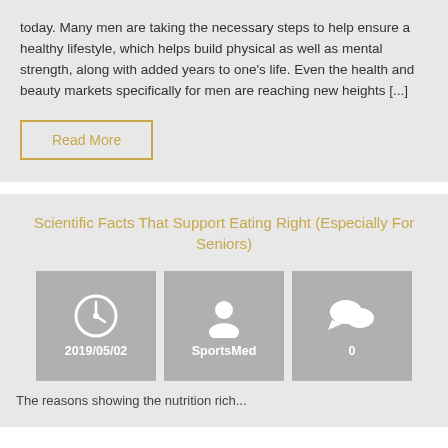today. Many men are taking the necessary steps to help ensure a healthy lifestyle, which helps build physical as well as mental strength, along with added years to one's life. Even the health and beauty markets specifically for men are reaching new heights [...]
Read More
Scientific Facts That Support Eating Right (Especially For Seniors)
[Figure (infographic): Three meta info boxes showing: clock icon with date 2019/05/02, person icon with label SportsMed, comment icon with number 0]
The reasons showing the nutrition rich...